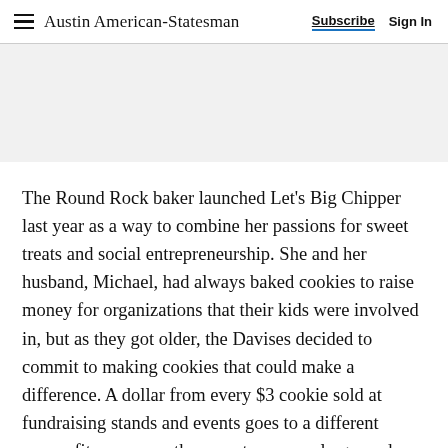Austin American-Statesman   Subscribe   Sign In
[Figure (other): Gray advertisement placeholder banner]
The Round Rock baker launched Let’s Big Chipper last year as a way to combine her passions for sweet treats and social entrepreneurship. She and her husband, Michael, had always baked cookies to raise money for organizations that their kids were involved in, but as they got older, the Davises decided to commit to making cookies that could make a difference. A dollar from every $3 cookie sold at fundraising stands and events goes to a different nonprofit every month, or customers on larger orders can pick a cause of their choice.